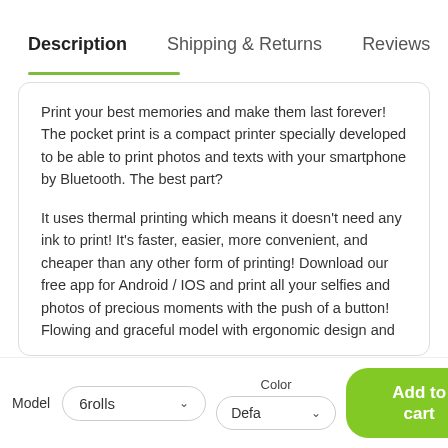Description   Shipping & Returns   Reviews
Print your best memories and make them last forever! The pocket print is a compact printer specially developed to be able to print photos and texts with your smartphone by Bluetooth. The best part?
It uses thermal printing which means it doesn't need any ink to print! It's faster, easier, more convenient, and cheaper than any other form of printing! Download our free app for Android / IOS and print all your selfies and photos of precious moments with the push of a button! Flowing and graceful model with ergonomic design and